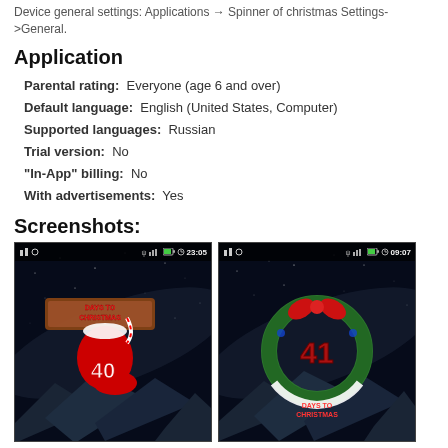Device general settings: Applications -> Spinner of christmas Settings->General.
Application
Parental rating: Everyone (age 6 and over)
Default language: English (United States, Computer)
Supported languages: Russian
Trial version: No
"In-App" billing: No
With advertisements: Yes
Screenshots:
[Figure (screenshot): Android screenshot showing a Christmas countdown widget with stocking displaying '40 Days to Christmas' on a night sky background, status bar shows 23:05]
[Figure (screenshot): Android screenshot showing a Christmas wreath countdown widget displaying '41' and 'Days to Christmas' on a night sky background, status bar shows 09:07]